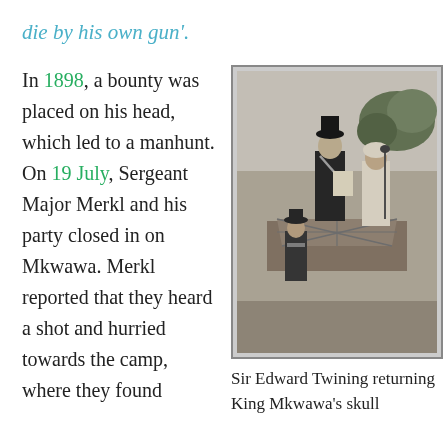die by his own gun'.
In 1898, a bounty was placed on his head, which led to a manhunt. On 19 July, Sergeant Major Merkl and his party closed in on Mkwawa. Merkl reported that they heard a shot and hurried towards the camp, where they found
[Figure (photo): Black and white photograph of Sir Edward Twining returning King Mkwawa's skull, showing two figures on a decorated platform with another uniformed officer below.]
Sir Edward Twining returning King Mkwawa's skull